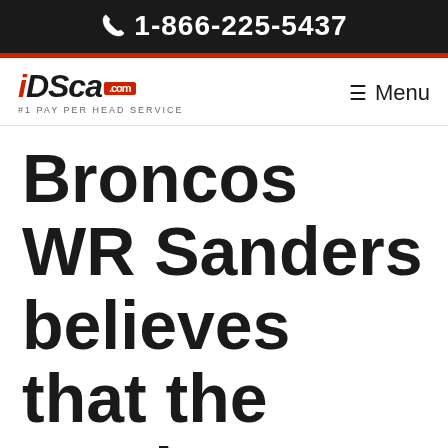📞 1-866-225-5437
[Figure (logo): iDSca.com #1 Pay Per Head Service logo with red and black styling]
≡ Menu
Broncos WR Sanders believes that the Patriots shouldn't be